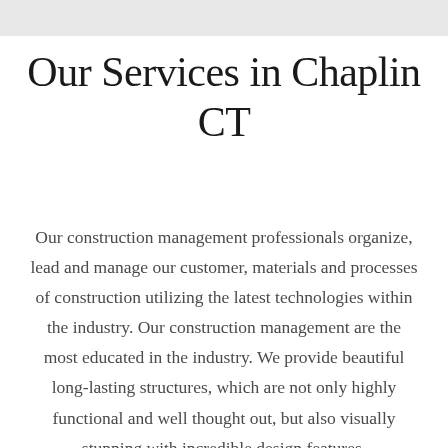Our Services in Chaplin CT
Our construction management professionals organize, lead and manage our customer, materials and processes of construction utilizing the latest technologies within the industry. Our construction management are the most educated in the industry. We provide beautiful long-lasting structures, which are not only highly functional and well thought out, but also visually stunning with incredible design features.